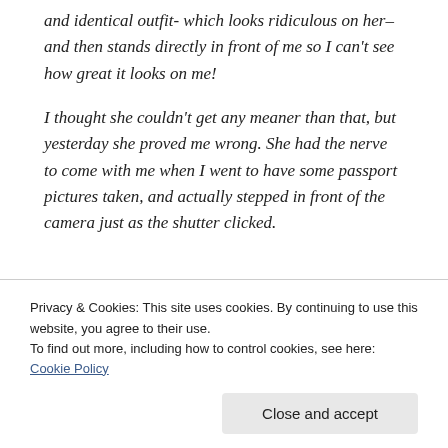and identical outfit- which looks ridiculous on her– and then stands directly in front of me so I can't see how great it looks on me!
I thought she couldn't get any meaner than that, but yesterday she proved me wrong. She had the nerve to come with me when I went to have some passport pictures taken, and actually stepped in front of the camera just as the shutter clicked.
Privacy & Cookies: This site uses cookies. By continuing to use this website, you agree to their use.
To find out more, including how to control cookies, see here: Cookie Policy